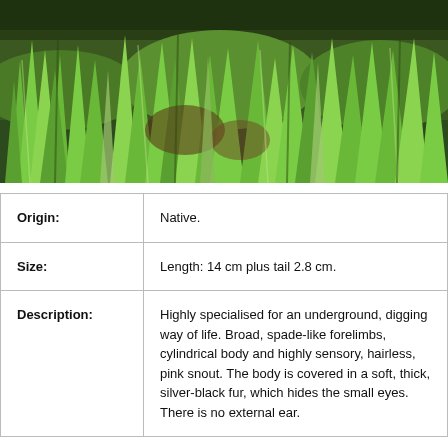[Figure (photo): Close-up photograph of green grass and vegetation, likely showing habitat. A small animal or mole may be partially visible among the grass blades.]
| Origin: | Native. |
| Size: | Length: 14 cm plus tail 2.8 cm. |
| Description: | Highly specialised for an underground, digging way of life. Broad, spade-like forelimbs, cylindrical body and highly sensory, hairless, pink snout. The body is covered in a soft, thick, silver-black fur, which hides the small eyes. There is no external ear. |